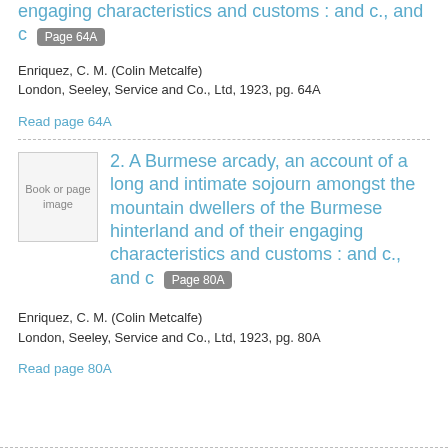engaging characteristics and customs : and c., and c  Page 64A
Enriquez, C. M. (Colin Metcalfe)
London, Seeley, Service and Co., Ltd, 1923, pg. 64A
Read page 64A
[Figure (illustration): Book or page image thumbnail placeholder]
2. A Burmese arcady, an account of a long and intimate sojourn amongst the mountain dwellers of the Burmese hinterland and of their engaging characteristics and customs : and c., and c  Page 80A
Enriquez, C. M. (Colin Metcalfe)
London, Seeley, Service and Co., Ltd, 1923, pg. 80A
Read page 80A